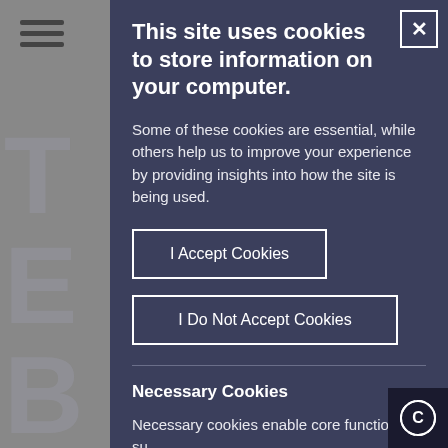[Figure (screenshot): Background showing a partial website view with hamburger menu icon and large grey letters visible on left side behind the cookie consent overlay.]
This site uses cookies to store information on your computer.
Some of these cookies are essential, while others help us to improve your experience by providing insights into how the site is being used.
I Accept Cookies
I Do Not Accept Cookies
Necessary Cookies
Necessary cookies enable core functionality such as page navigation and access to secure ar